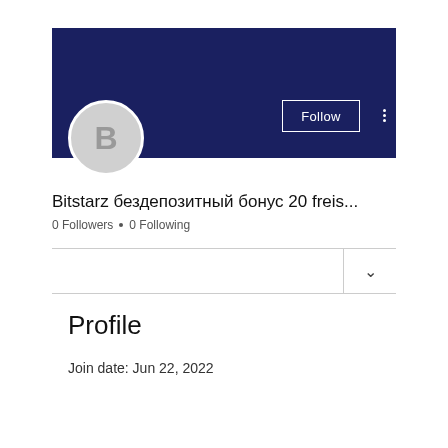[Figure (screenshot): User profile page with dark navy blue banner header, a grey avatar circle with letter B, a Follow button with white border, and three vertical dots menu icon]
Bitstarz бездепозитный бонус 20 freis...
0 Followers • 0 Following
Profile
Join date: Jun 22, 2022